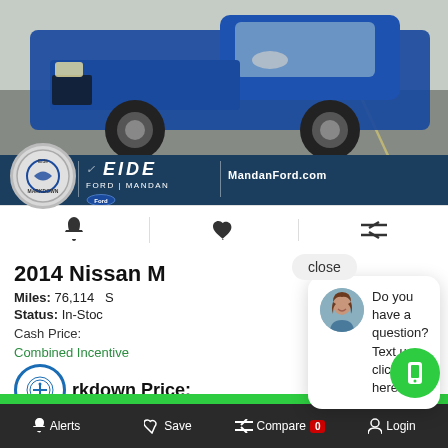[Figure (photo): Blue Nissan pickup truck parked in a lot, with Eide Ford Mandan dealer banner below showing logo and website MandanFord.com]
Alerts | Save | Compare 0 | Login (action bar icons)
2014 Nissan [title cut off]
Miles: 76,114  S[tock]
Status: In-Stoc[k]
Cash Price:
Combined Incentive[s]
rkdown Price:  $23,000
[Figure (photo): Chat popup overlay with female avatar and text: Do you have a question? Text us - click here.]
Eide Ford Mandan
Alerts  Save  Compare 0  Login